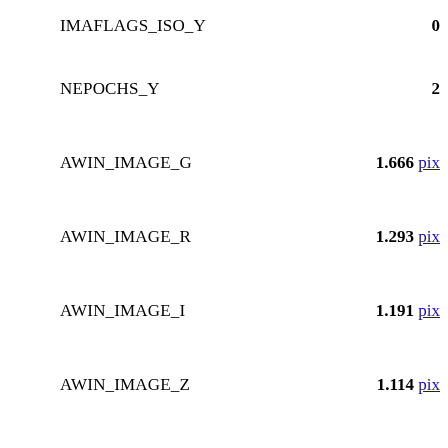| Parameter | Value |
| --- | --- |
| IMAFLAGS_ISO_Y | 0 |
| NEPOCHS_Y | 2 |
| AWIN_IMAGE_G | 1.666 pix |
| AWIN_IMAGE_R | 1.293 pix |
| AWIN_IMAGE_I | 1.191 pix |
| AWIN_IMAGE_Z | 1.114 pix |